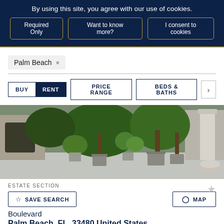By using this site, you agree with our use of cookies.
Required Only | Want to know more? | I consent to cookies
Palm Beach ×
BUY  RENT  PRICE RANGE  BEDS & BATHS
[Figure (photo): Exterior patio with large potted palm trees and plants, stone column visible on right, grey paving stones on ground]
ESTATE SECTION
☆ SAVE SEARCH
⊙ MAP
Boulevard
Palm Beach, FL, 33480 United States